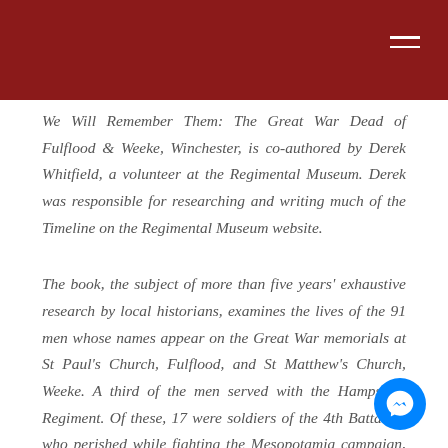We Will Remember Them: The Great War Dead of Fulflood & Weeke, Winchester, is co-authored by Derek Whitfield, a volunteer at the Regimental Museum. Derek was responsible for researching and writing much of the Timeline on the Regimental Museum website.
The book, the subject of more than five years' exhaustive research by local historians, examines the lives of the 91 men whose names appear on the Great War memorials at St Paul's Church, Fulflood, and St Matthew's Church, Weeke. A third of the men served with the Hampshire Regiment. Of these, 17 were soldiers of the 4th Battalion who perished while fighting the Mesopotamia campaign, most after being taken prisoner